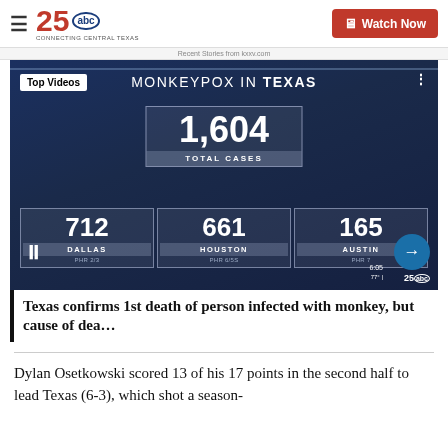25 ABC — Connecting Central Texas | Watch Now
Recent Stories from kxxv.com
[Figure (infographic): Video thumbnail showing 'MONKEYPOX IN TEXAS' infographic with 1,604 total cases, and city breakdowns: Dallas 712, Houston 661, Austin 165. Overlaid with 'Top Videos' badge and video player controls.]
Texas confirms 1st death of person infected with monkey, but cause of dea…
Dylan Osetkowski scored 13 of his 17 points in the second half to lead Texas (6-3), which shot a season-